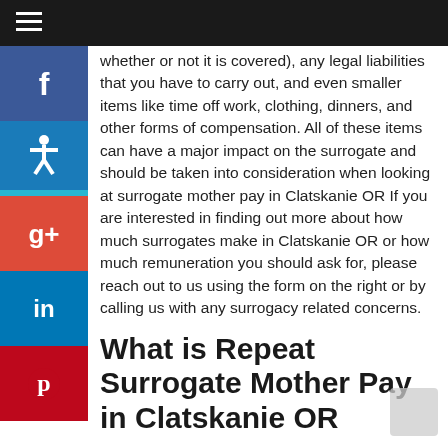Navigation bar with hamburger menu
whether or not it is covered), any legal liabilities that you have to carry out, and even smaller items like time off work, clothing, dinners, and other forms of compensation. All of these items can have a major impact on the surrogate and should be taken into consideration when looking at surrogate mother pay in Clatskanie OR If you are interested in finding out more about how much surrogates make in Clatskanie OR or how much remuneration you should ask for, please reach out to us using the form on the right or by calling us with any surrogacy related concerns.
What is Repeat Surrogate Mother Pay in Clatskanie OR
Repeat surrogates can expect to make increased compensation in Clatskanie OR. These are top